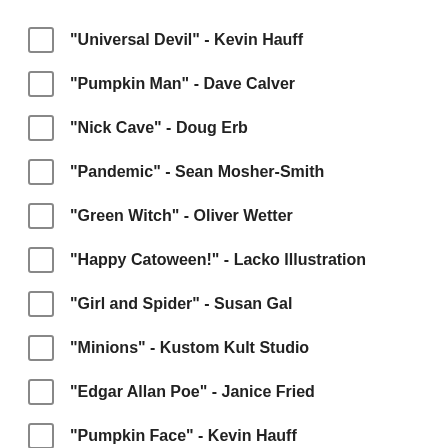"Universal Devil" - Kevin Hauff
"Pumpkin Man" - Dave Calver
"Nick Cave" - Doug Erb
"Pandemic" - Sean Mosher-Smith
"Green Witch" - Oliver Wetter
"Happy Catoween!" - Lacko Illustration
"Girl and Spider" - Susan Gal
"Minions" - Kustom Kult Studio
"Edgar Allan Poe" - Janice Fried
"Pumpkin Face" - Kevin Hauff
"Skeleton Candy" - James Shepherd
"Pig Thingie" - Erik Tennyson